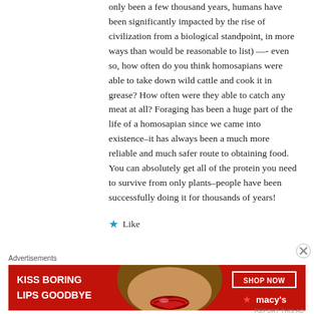only been a few thousand years, humans have been significantly impacted by the rise of civilization from a biological standpoint, in more ways than would be reasonable to list) —- even so, how often do you think homosapians were able to take down wild cattle and cook it in grease? How often were they able to catch any meat at all? Foraging has been a huge part of the life of a homosapian since we came into existence–it has always been a much more reliable and much safer route to obtaining food. You can absolutely get all of the protein you need to survive from only plants–people have been successfully doing it for thousands of years!
Like
Advertisements
[Figure (other): Macy's advertisement banner with red background showing a woman's face with red lips, text 'KISS BORING LIPS GOODBYE' and 'SHOP NOW' button with Macy's star logo]